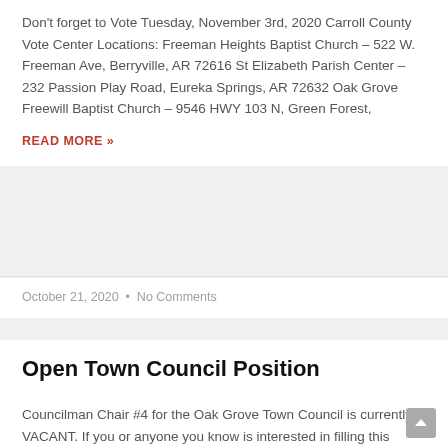Don't forget to Vote Tuesday, November 3rd, 2020 Carroll County Vote Center Locations: Freeman Heights Baptist Church – 522 W. Freeman Ave, Berryville, AR 72616 St Elizabeth Parish Center – 232 Passion Play Road, Eureka Springs, AR 72632 Oak Grove Freewill Baptist Church – 9546 HWY 103 N, Green Forest,
READ MORE »
October 21, 2020  •  No Comments
Open Town Council Position
Councilman Chair #4 for the Oak Grove Town Council is currently VACANT. If you or anyone you know is interested in filling this elected position please contact town hall or email us at town@oakgrovear.com for more information.